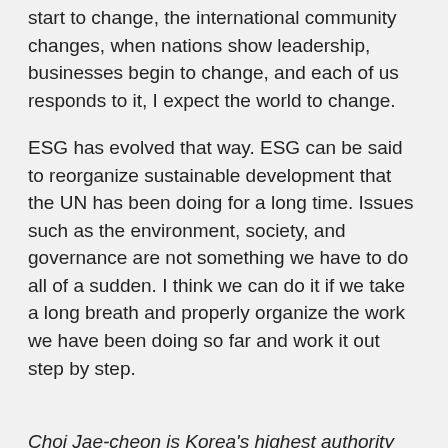start to change, the international community changes, when nations show leadership, businesses begin to change, and each of us responds to it, I expect the world to change.
ESG has evolved that way. ESG can be said to reorganize sustainable development that the UN has been doing for a long time. Issues such as the environment, society, and governance are not something we have to do all of a sudden. I think we can do it if we take a long breath and properly organize the work we have been doing so far and work it out step by step.
Choi Jae-cheon is Korea's highest authority on the theory of evolution. He mainly studies ants, so he is also called 'Doctor Ant', and recently he also got a new nickname, 'Ant-Man' on YouTube.